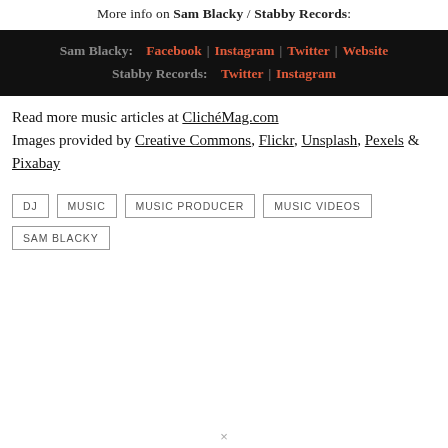More info on Sam Blacky / Stabby Records:
[Figure (infographic): Black bar with social media links: Sam Blacky: Facebook | Instagram | Twitter | Website and Stabby Records: Twitter | Instagram]
Read more music articles at ClichéMag.com
Images provided by Creative Commons, Flickr, Unsplash, Pexels & Pixabay
DJ
MUSIC
MUSIC PRODUCER
MUSIC VIDEOS
SAM BLACKY